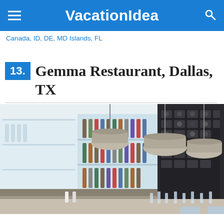VacationIdea
Canada, ID, DE, MD Islands, FL
13. Gemma Restaurant, Dallas, TX
[Figure (photo): Interior of Gemma Restaurant in Dallas TX showing a modern bar area with pendant lamps, shelves lined with bottles, wine storage display, and a set dining counter with glasses and cutlery.]